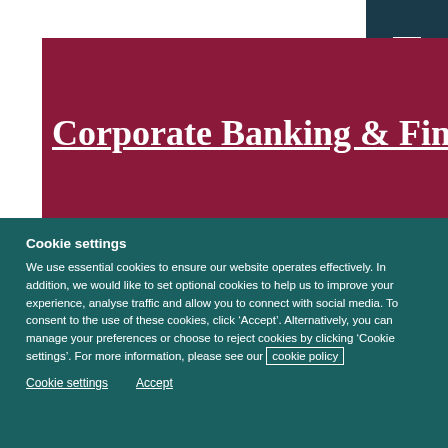Corporate Banking & Finance
Cookie settings
We use essential cookies to ensure our website operates effectively. In addition, we would like to set optional cookies to help us to improve your experience, analyse traffic and allow you to connect with social media. To consent to the use of these cookies, click ‘Accept’. Alternatively, you can manage your preferences or choose to reject cookies by clicking ‘Cookie settings’. For more information, please see our cookie policy
Cookie settings   Accept